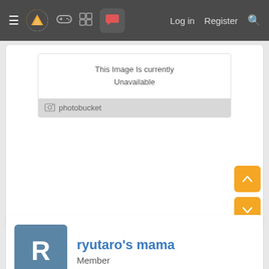Navigation bar with menu, logo, gaming, forum, chat icons, Log in, Register, Search
[Figure (screenshot): Photobucket image unavailable placeholder with 'Sorry. This Image Is Currently Unavailable' message]
ryutaro's mama
Member
Jun 7, 2008
#20
M3wThr33 said:
[Figure (screenshot): Photobucket image unavailable placeholder with 'Sorry. This Image Is Currently Unavailable' message]